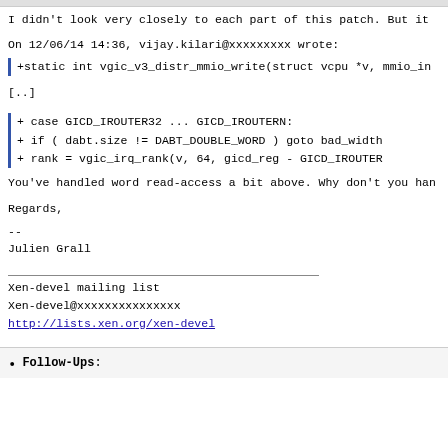I didn't look very closely to each part of this patch. But it
On 12/06/14 14:36, vijay.kilari@xxxxxxxxx wrote:
+static int vgic_v3_distr_mmio_write(struct vcpu *v, mmio_in
[..]
+     case GICD_IROUTER32 ... GICD_IROUTERN:
+         if ( dabt.size != DABT_DOUBLE_WORD ) goto bad_width
+         rank = vgic_irq_rank(v, 64, gicd_reg - GICD_IROUTER
You've handled word read-access a bit above. Why don't you han
Regards,
--
Julien Grall
Xen-devel mailing list
Xen-devel@xxxxxxxxxxxxxxx
http://lists.xen.org/xen-devel
Follow-Ups: